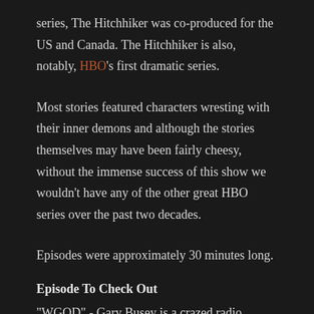series, The Hitchhiker was co-produced for the US and Canada. The Hitchhiker is also, notably, HBO's first dramatic series.
Most stories featured characters wresting with their inner demons and although the stories themselves may have been fairly cheesy, without the immense success of this show we wouldn't have any of the other great HBO series over the past two decades.
Episodes were approximately 30 minutes long.
Episode To Check Out
"WGOD" - Gary Busey is a crazed radio evangelist that gets what's coming to him. Sad to say, I cannot find this video online anywhere. If you happen to come across someone,